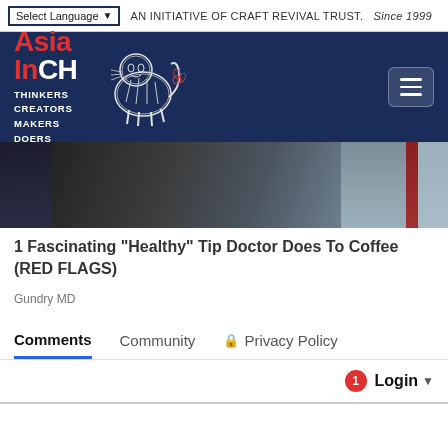Select Language  AN INITIATIVE OF CRAFT REVIVAL TRUST.  Since 1999
[Figure (logo): Asia InCH logo with tiger illustration. Text reads: Asia InCH THINKERS CREATORS MAKERS DOERS on a dark navy background, with a hamburger menu icon on the right.]
[Figure (photo): Hero image showing dark fabric/clothing on the left and center, with a person wearing a gray apron with orange/red straps on the right.]
1 Fascinating "Healthy" Tip Doctor Does To Coffee (RED FLAGS)
Gundry MD
Comments   Community   Privacy Policy
1  Login